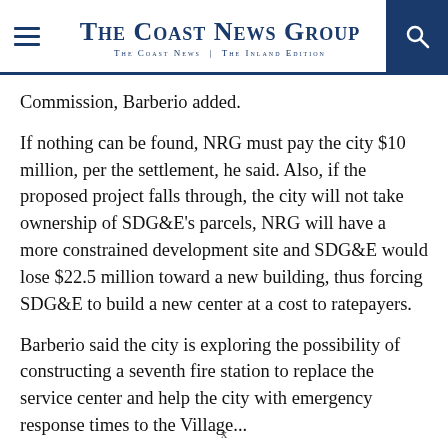The Coast News Group | The Coast News | The Inland Edition
Commission, Barberio added.
If nothing can be found, NRG must pay the city $10 million, per the settlement, he said. Also, if the proposed project falls through, the city will not take ownership of SDG&E's parcels, NRG will have a more constrained development site and SDG&E would lose $22.5 million toward a new building, thus forcing SDG&E to build a new center at a cost to ratepayers.
Barberio said the city is exploring the possibility of constructing a seventh fire station to replace the service center and help the city with emergency response times to the Village...